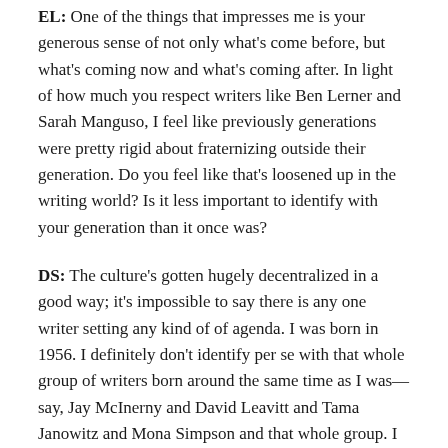EL: One of the things that impresses me is your generous sense of not only what's come before, but what's coming now and what's coming after. In light of how much you respect writers like Ben Lerner and Sarah Manguso, I feel like previously generations were pretty rigid about fraternizing outside their generation. Do you feel like that's loosened up in the writing world? Is it less important to identify with your generation than it once was?
DS: The culture's gotten hugely decentralized in a good way; it's impossible to say there is any one writer setting any kind of agenda. I was born in 1956. I definitely don't identify per se with that whole group of writers born around the same time as I was—say, Jay McInerny and David Leavitt and Tama Janowitz and Mona Simpson and that whole group. I began as a fiction writer and so I was aware of them, and I respect their work, but they're not the writers who are my immediate points of departure. I don't know how it is in fiction, but